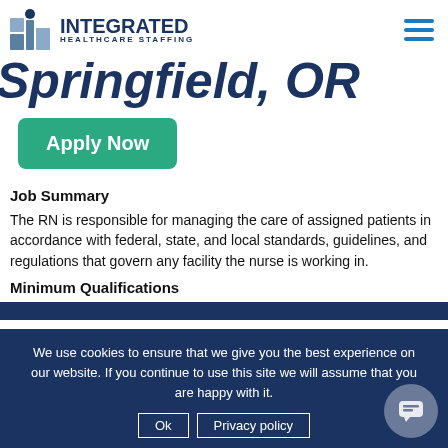INTEGRATED HEALTHCARE STAFFING
Springfield, OR
Apply Now
Job Summary
The RN is responsible for managing the care of assigned patients in accordance with federal, state, and local standards, guidelines, and regulations that govern any facility the nurse is working in.
Minimum Qualifications
We use cookies to ensure that we give you the best experience on our website. If you continue to use this site we will assume that you are happy with it.
Ok   Privacy policy